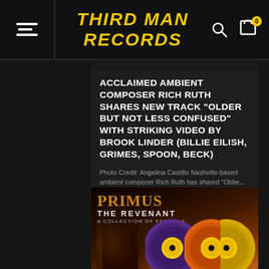THIRD MAN RECORDS
ACCLAIMED AMBIENT COMPOSER RICH RUTH SHARES NEW TRACK "OLDER BUT NOT LESS CONFUSED" WITH STRIKING VIDEO BY BROOK LINDER (BILLIE EILISH, GRIMES, SPOON, BECK)
Photo Credit: Angelina Castillo Nashville-based ambient composer Rich Ruth has shared "Older...
[Figure (photo): Primus - The Revenant: A Collection of Fables album artwork showing colorful vinyl records (purple, orange, green, yellow) against a dark flame-lit background]